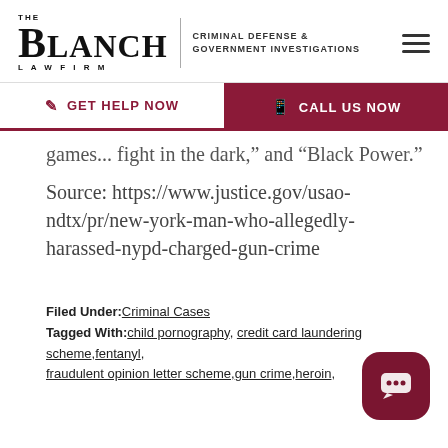THE BLANCH LAW FIRM — CRIMINAL DEFENSE & GOVERNMENT INVESTIGATIONS
GET HELP NOW | CALL US NOW
games... fight in the dark,” and “Black Power.”
Source: https://www.justice.gov/usao-ndtx/pr/new-york-man-who-allegedly-harassed-nypd-charged-gun-crime
Filed Under: Criminal Cases
Tagged With: child pornography, credit card laundering scheme, fentanyl, fraudulent opinion letter scheme, gun crime, heroin,